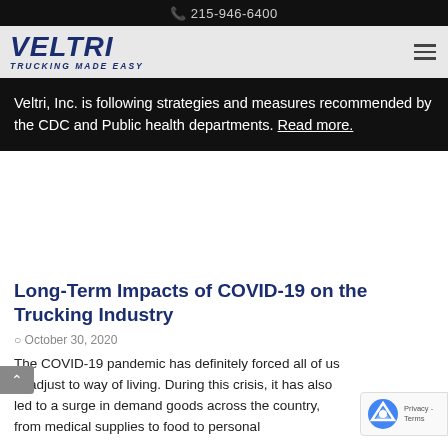215-946-6400
[Figure (logo): Veltri Trucking Made Easy logo in dark blue italic text]
Veltri, Inc. is following strategies and measures recommended by the CDC and Public health departments. Read more.
Long-Term Impacts of COVID-19 on the Trucking Industry
October 30, 2020
The COVID-19 pandemic has definitely forced all of us to adjust to way of living. During this crisis, it has also led to a surge in demand goods across the country, from medical supplies to food to personal